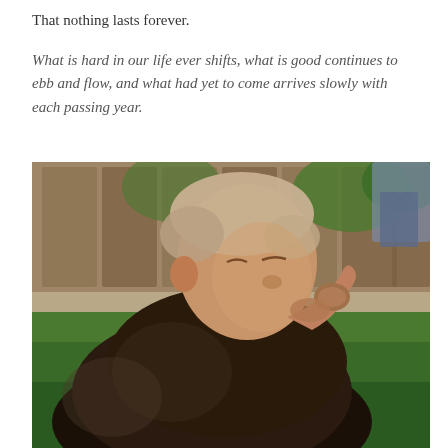That nothing lasts forever.
What is hard in our life ever shifts, what is good continues to ebb and flow, and what had yet to come arrives slowly with each passing year.
[Figure (photo): A young blonde toddler sitting outdoors on grass, wearing a dark brown/black leather jacket, eating something with their hand. A wooden fence and grass are visible in the background. A figure in blue jeans is partially visible in the top right corner.]